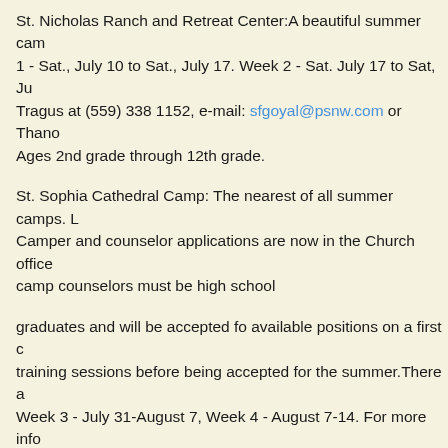St. Nicholas Ranch and Retreat Center:A beautiful summer camp. Week 1 - Sat., July 10 to Sat., July 17. Week 2 - Sat. July 17 to Sat, Ju... Tragus at (559) 338 1152, e-mail: sfgoyal@psnw.com or Thano... Ages 2nd grade through 12th grade.
St. Sophia Cathedral Camp: The nearest of all summer camps. K... Camper and counselor applications are now in the Church office... camp counselors must be high school
graduates and will be accepted fo available positions on a first c... training sessions before being accepted for the summer.There a... Week 3 - July 31-August 7, Week 4 - August 7-14. For more info...
Ionian Village in Vartholomio, Greece is the ultimate of our Sum... Orthodox Archdiocese of America. Those who had been part of t... lifetime.The program has as follows:
Summer Travel Camp, ages 12-15, June 28-July 17. Byzantine ... to the Ecumenical Patriarchate (Optional), July 20-25. Spiritual C... information call (212) 570 3534, Fax: (212)570-3569, e-mail: ion...
For all camp programs you can call our office too. We have info... mail: frstathis@saint-anthonys.org and our website is: www.sain...